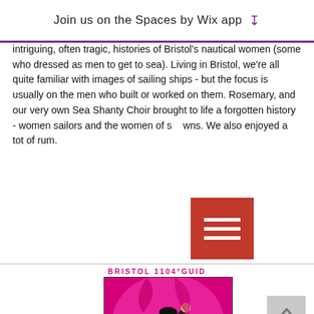Join us on the Spaces by Wix app
intriguing, often tragic, histories of Bristol's nautical women (some who dressed as men to get to sea). Living in Bristol, we're all quite familiar with images of sailing ships - but the focus is usually on the men who built or worked on them. Rosemary, and our very own Sea Shanty Choir brought to life a forgotten history - women sailors and the women of seafaring towns. We also enjoyed a tot of rum.
[Figure (other): Red hamburger menu icon overlay]
BRISTOL 1104°GUID
[Figure (illustration): Illustration of women in black, white and magenta/pink - theatrical poster style showing women singing/celebrating, one with raised fist]
The Women Who Built Bristol
June 2019